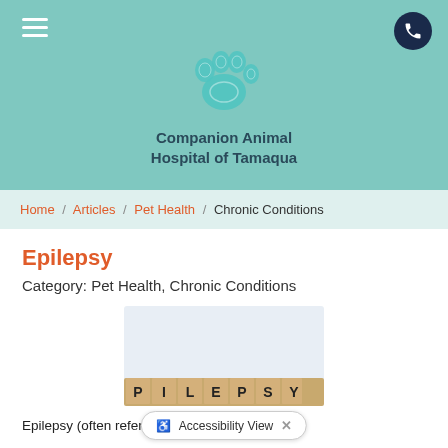[Figure (logo): Companion Animal Hospital of Tamaqua logo with teal paw print and text]
Home / Articles / Pet Health / Chronic Conditions
Epilepsy
Category: Pet Health, Chronic Conditions
[Figure (photo): Scrabble tiles spelling EPILEPSY on a wooden surface]
Epilepsy (often referred                    der) is a